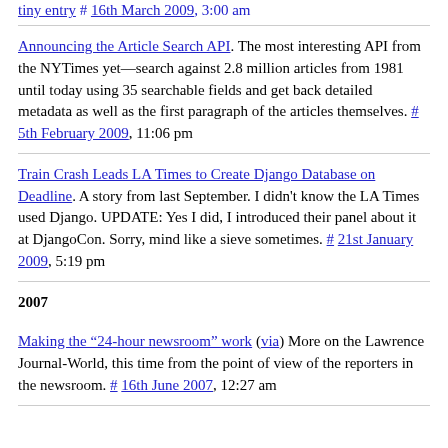Announcing the Article Search API. The most interesting API from the NYTimes yet—search against 2.8 million articles from 1981 until today using 35 searchable fields and get back detailed metadata as well as the first paragraph of the articles themselves. # 5th February 2009, 11:06 pm
Train Crash Leads LA Times to Create Django Database on Deadline. A story from last September. I didn't know the LA Times used Django. UPDATE: Yes I did, I introduced their panel about it at DjangoCon. Sorry, mind like a sieve sometimes. # 21st January 2009, 5:19 pm
2007
Making the “24-hour newsroom” work (via) More on the Lawrence Journal-World, this time from the point of view of the reporters in the newsroom. # 16th June 2007, 12:27 am